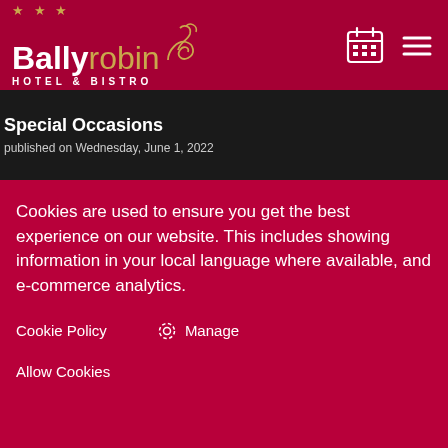Ballyrobin HOTEL & BISTRO
Special Occasions
published on Wednesday, June 1, 2022
Cookies are used to ensure you get the best experience on our website. This includes showing information in your local language where available, and e-commerce analytics.
Cookie Policy
Manage
Allow Cookies